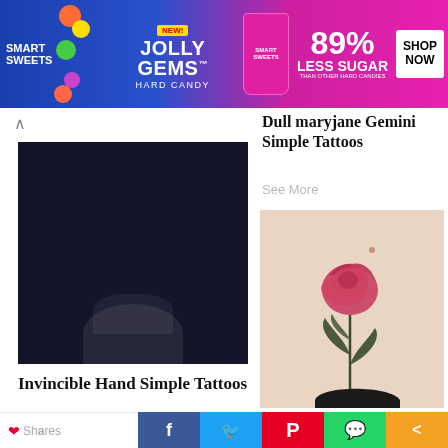[Figure (photo): SmartSweets Jolly Gems Hard Candy advertisement banner with '89% Less Sugar' text and Shop Now button]
[Figure (photo): Dark photo showing upper back/neck area, likely a tattoo photo for 'Invincible Hand Simple Tattoos']
Invincible Hand Simple Tattoos
See More
[Figure (photo): Photo of a tribal circular tattoo on someone's back/shoulder]
Dull maryjane Gemini Simple Tattoos
See More
[Figure (photo): Photo of a 3D realistic rose flower tattoo on someone's arm, with a long stem and leaves]
3D Flower Tattoo
Shares  f  Twitter  Pinterest  WhatsApp  Share